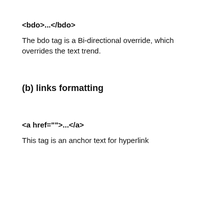<bdo>...</bdo>
The bdo tag is a Bi-directional override, which overrides the text trend.
(b) links formatting
<a href="">...</a>
This tag is an anchor text for hyperlink